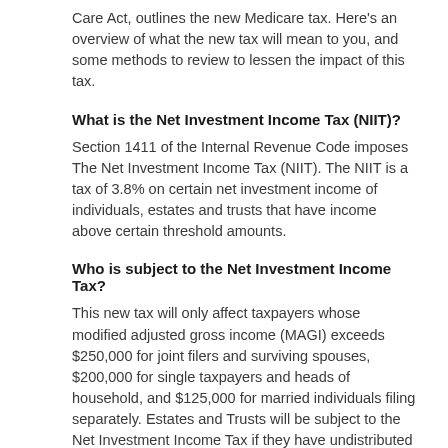Care Act, outlines the new Medicare tax. Here's an overview of what the new tax will mean to you, and some methods to review to lessen the impact of this tax.
What is the Net Investment Income Tax (NIIT)?
Section 1411 of the Internal Revenue Code imposes The Net Investment Income Tax (NIIT). The NIIT is a tax of 3.8% on certain net investment income of individuals, estates and trusts that have income above certain threshold amounts.
Who is subject to the Net Investment Income Tax?
This new tax will only affect taxpayers whose modified adjusted gross income (MAGI) exceeds $250,000 for joint filers and surviving spouses, $200,000 for single taxpayers and heads of household, and $125,000 for married individuals filing separately. Estates and Trusts will be subject to the Net Investment Income Tax if they have undistributed Net Investment Income, and also have adjusted gross income over the dollar amount at which the highest tax bracket for an estate or trust begins for such taxable year (for tax year 2012, this threshold amount is